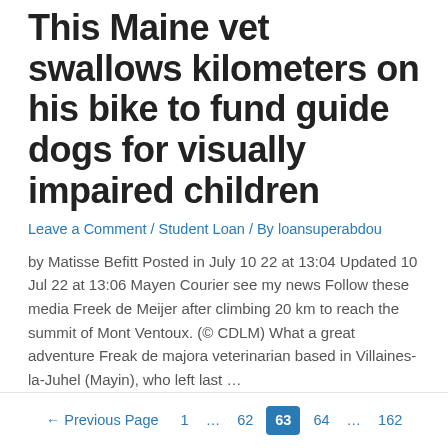This Maine vet swallows kilometers on his bike to fund guide dogs for visually impaired children
Leave a Comment / Student Loan / By loansuperabdou
by Matisse Befitt Posted in July 10 22 at 13:04 Updated 10 Jul 22 at 13:06 Mayen Courier see my news Follow these media Freek de Meijer after climbing 20 km to reach the summit of Mont Ventoux. (© CDLM) What a great adventure Freak de majora veterinarian based in Villaines-la-Juhel (Mayin), who left last …
Read More »
← Previous Page   1   …   62   63   64   …   162